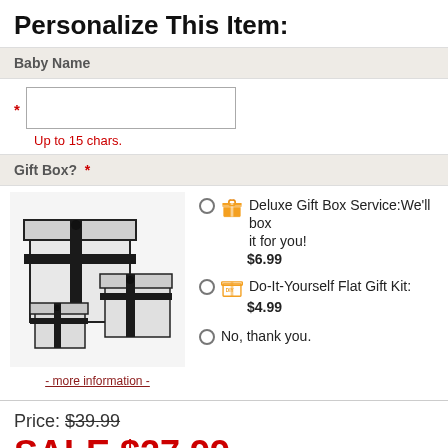Personalize This Item:
Baby Name
* [text input] Up to 15 chars.
Gift Box?  *
[Figure (photo): Three black and white gift boxes of different sizes stacked/arranged together]
Deluxe Gift Box Service: We'll box it for you! $6.99
Do-It-Yourself Flat Gift Kit: $4.99
No, thank you.
- more information -
Price: $39.99
SALE $27.99